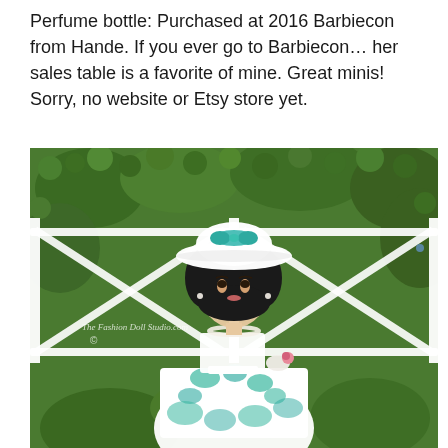Perfume bottle:  Purchased at 2016 Barbiecon from Hande.  If you ever go to Barbiecon… her sales table is a favorite of mine.  Great minis!  Sorry, no website or Etsy store yet.
[Figure (photo): A fashion doll (Barbie-style) wearing a white dress with teal floral embroidery and a wide-brimmed white hat with a teal bow. The doll has black hair, pearl necklace, white gloves, and holds a small pink rose. Background shows a white wooden fence with an X pattern and green foliage. Watermark reads 'The Fashion Doll Studio.com' with a copyright symbol.]